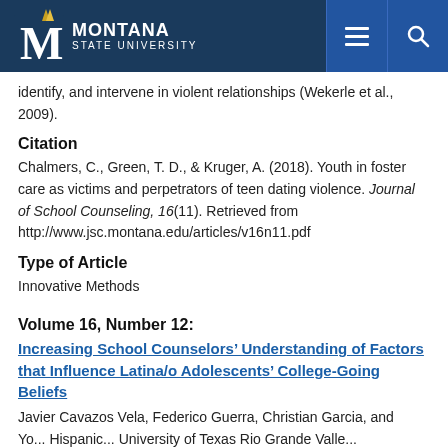[Figure (logo): Montana State University logo and navigation bar with hamburger menu and search icon]
identify, and intervene in violent relationships (Wekerle et al., 2009).
Citation
Chalmers, C., Green, T. D., & Kruger, A. (2018). Youth in foster care as victims and perpetrators of teen dating violence. Journal of School Counseling, 16(11). Retrieved from http://www.jsc.montana.edu/articles/v16n11.pdf
Type of Article
Innovative Methods
Volume 16, Number 12:
Increasing School Counselors’ Understanding of Factors that Influence Latina/o Adolescents’ College-Going Beliefs
Javier Cavazos Vela, Federico Guerra, Christian Garcia, and
Yo... Hispanic... University of Texas Rio Grande Valley...